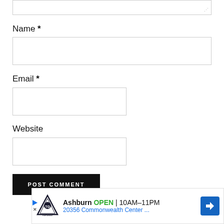[Figure (screenshot): Partial top of a text area input box with resize handle in bottom right corner]
Name *
[Figure (screenshot): Empty text input field for Name]
Email *
[Figure (screenshot): Empty text input field for Email]
Website
[Figure (screenshot): Empty text input field for Website]
[Figure (screenshot): Black POST COMMENT button]
[Figure (screenshot): Advertisement banner for Topgolf Ashburn showing OPEN 10AM-11PM, 20356 Commonwealth Center..., with logo and blue directional arrow icon]